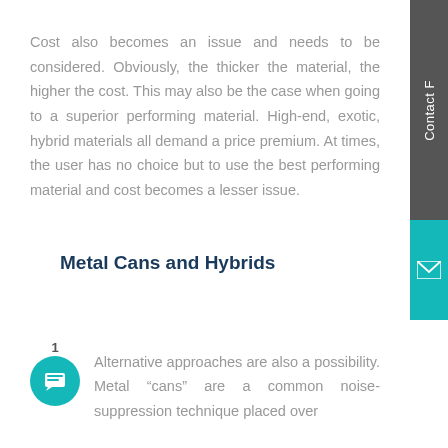Cost also becomes an issue and needs to be considered. Obviously, the thicker the material, the higher the cost. This may also be the case when going to a superior performing material. High-end, exotic, hybrid materials all demand a price premium. At times, the user has no choice but to use the best performing material and cost becomes a lesser issue.
Metal Cans and Hybrids
Alternative approaches are also a possibility. Metal “cans” are a common noise-suppression technique placed over